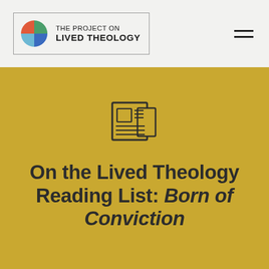[Figure (logo): The Project on Lived Theology logo with colorful pinwheel icon and organization name]
[Figure (illustration): Newspaper/reading list icon outline drawing]
On the Lived Theology Reading List: Born of Conviction